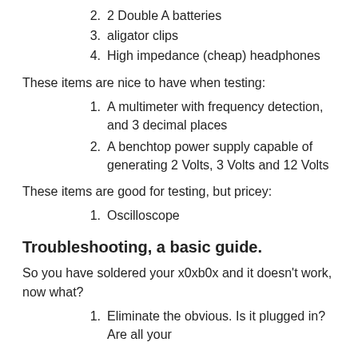2. 2 Double A batteries
3. aligator clips
4. High impedance (cheap) headphones
These items are nice to have when testing:
1. A multimeter with frequency detection, and 3 decimal places
2. A benchtop power supply capable of generating 2 Volts, 3 Volts and 12 Volts
These items are good for testing, but pricey:
1. Oscilloscope
Troubleshooting, a basic guide.
So you have soldered your x0xb0x and it doesn't work, now what?
1. Eliminate the obvious. Is it plugged in? Are all your